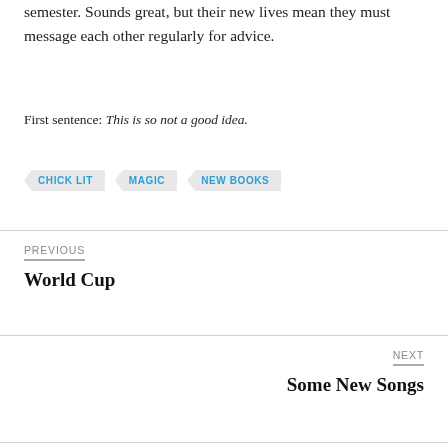semester. Sounds great, but their new lives mean they must message each other regularly for advice.
First sentence: This is so not a good idea.
CHICK LIT
MAGIC
NEW BOOKS
PREVIOUS
World Cup
NEXT
Some New Songs